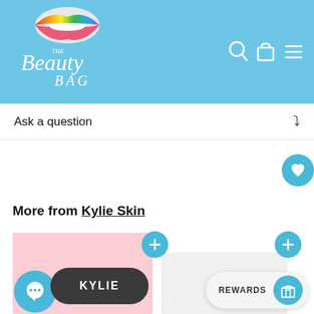[Figure (logo): The Beauty Bag logo with colorful lips icon and cursive script text]
[Figure (infographic): Navigation icons: search, shopping bag, hamburger menu]
Ask a question
[Figure (infographic): Heart/wishlist floating button (teal circle with heart icon)]
More from Kylie Skin
[Figure (photo): Kylie face mask product on pink background with chat bubble]
[Figure (photo): Second Kylie Skin product card]
[Figure (infographic): REWARDS button bar with teal icon]